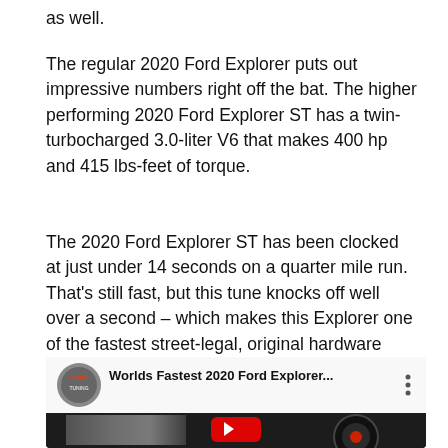as well.
The regular 2020 Ford Explorer puts out impressive numbers right off the bat. The higher performing 2020 Ford Explorer ST has a twin-turbocharged 3.0-liter V6 that makes 400 hp and 415 lbs-feet of torque.
The 2020 Ford Explorer ST has been clocked at just under 14 seconds on a quarter mile run. That’s still fast, but this tune knocks off well over a second – which makes this Explorer one of the fastest street-legal, original hardware examples we’ve seen.
[Figure (screenshot): YouTube video thumbnail showing 'Worlds Fastest 2020 Ford Explorer...' with a channel logo on the left, title text in white, and a three-dot menu icon on the right. Below is a dark image of a car with a YouTube play button.]